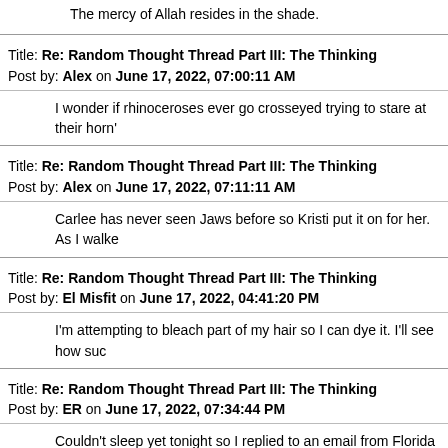The mercy of Allah resides in the shade.
Title: Re: Random Thought Thread Part III: The Thinking
Post by: Alex on June 17, 2022, 07:00:11 AM
I wonder if rhinoceroses ever go crosseyed trying to stare at their horn'
Title: Re: Random Thought Thread Part III: The Thinking
Post by: Alex on June 17, 2022, 07:11:11 AM
Carlee has never seen Jaws before so Kristi put it on for her. As I walke
Title: Re: Random Thought Thread Part III: The Thinking
Post by: El Misfit on June 17, 2022, 04:41:20 PM
I'm attempting to bleach part of my hair so I can dye it. I'll see how suc
Title: Re: Random Thought Thread Part III: The Thinking
Post by: ER on June 17, 2022, 07:34:44 PM
Couldn't sleep yet tonight so I replied to an email from Florida from this bonds to them and I said I'd buy him a trophy that proclaimed him worl
Title: Re: Random Thought Thread Part III: The Thinking
Post by: El Misfit on June 17, 2022, 08:33:10 PM